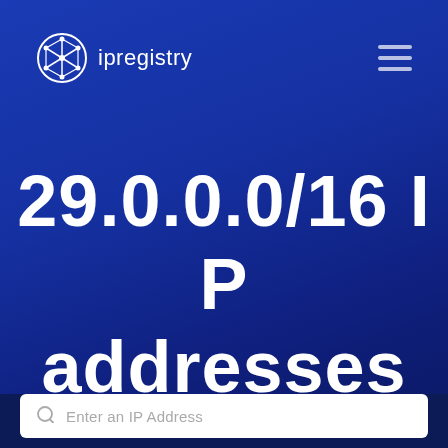[Figure (logo): ipregistry globe logo with interconnected nodes, white, followed by text 'ipregistry']
29.0.0.0/16 IP addresses
Enter an IP Address